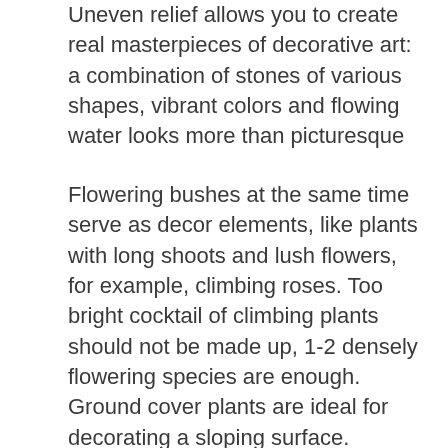Uneven relief allows you to create real masterpieces of decorative art: a combination of stones of various shapes, vibrant colors and flowing water looks more than picturesque
Flowering bushes at the same time serve as decor elements, like plants with long shoots and lush flowers, for example, climbing roses. Too bright cocktail of climbing plants should not be made up, 1-2 densely flowering species are enough. Ground cover plants are ideal for decorating a sloping surface. Periwinkle, woolly stalk, ivy, sunflower create a dense carpet, serving as a backdrop for larger species.